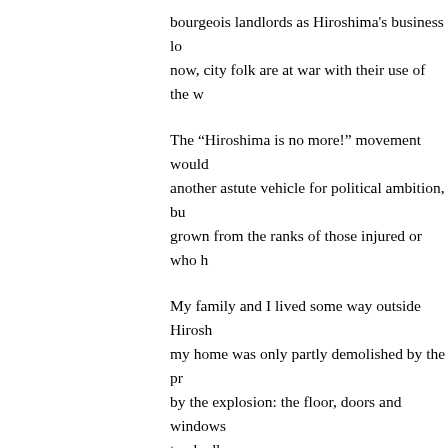bourgeois landlords as Hiroshima's business lo now, city folk are at war with their use of the w
The “Hiroshima is no more!” movement would another astute vehicle for political ambition, bu grown from the ranks of those injured or who h
My family and I lived some way outside Hirosh my home was only partly demolished by the pr by the explosion: the floor, doors and windows too badly.
After the defeat of Japan, we immediately took comrades and get ourselves organised, but mo energy and could not generate any enthusiasm communicate with comrades in Tokyo any mor decided that the best thing to do was not to rev again as the anarchist movement straight away up the feudalism and centralism at provincial le